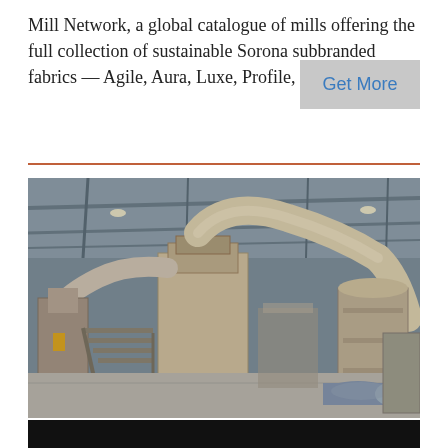Mill Network, a global catalogue of mills offering the full collection of sustainable Sorona subbranded fabrics — Agile, Aura, Luxe, Profile, and Revive
Get More
[Figure (photo): Industrial manufacturing facility interior showing large machinery with white/beige ductwork and piping systems under a high metal roof with overhead lighting]
[Figure (photo): Dark/black bar at bottom, partial view of another photo section]